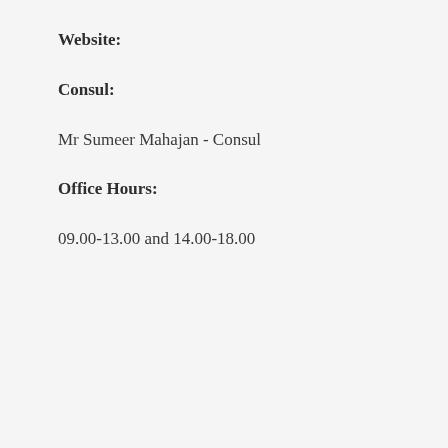Website:
Consul:
Mr Sumeer Mahajan - Consul
Office Hours:
09.00-13.00 and 14.00-18.00